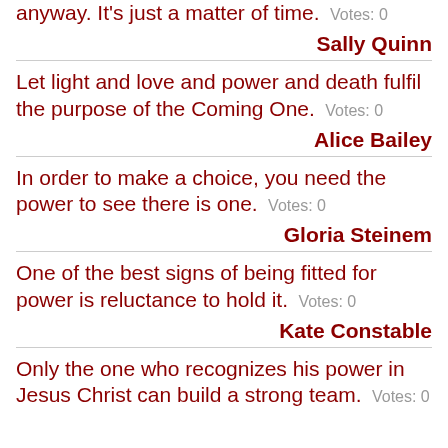anyway. It's just a matter of time.  Votes: 0
Sally Quinn
Let light and love and power and death fulfil the purpose of the Coming One.  Votes: 0
Alice Bailey
In order to make a choice, you need the power to see there is one.  Votes: 0
Gloria Steinem
One of the best signs of being fitted for power is reluctance to hold it.  Votes: 0
Kate Constable
Only the one who recognizes his power in Jesus Christ can build a strong team.  Votes: 0